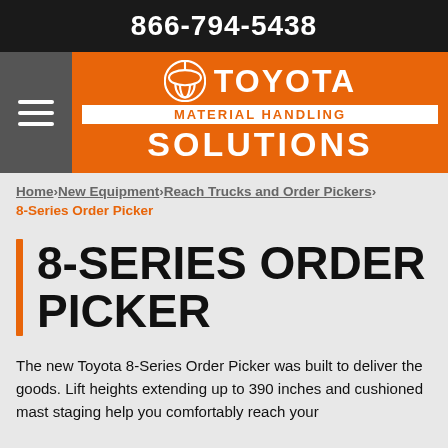866-794-5438
[Figure (logo): Toyota Material Handling Solutions logo with orange background, white Toyota circle emblem, TOYOTA text, white box with MATERIAL HANDLING in orange, and SOLUTIONS in white text]
Home > New Equipment > Reach Trucks and Order Pickers > 8-Series Order Picker
8-SERIES ORDER PICKER
The new Toyota 8-Series Order Picker was built to deliver the goods. Lift heights extending up to 390 inches and cushioned mast staging help you comfortably reach your